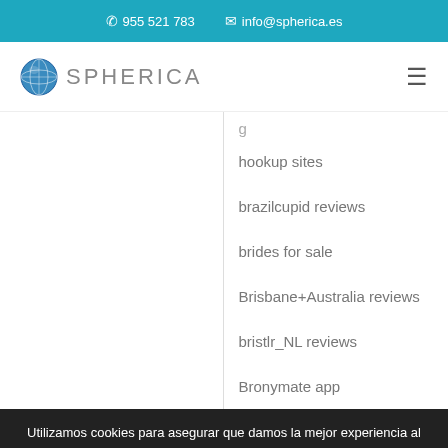955 521 783   info@spherica.es
[Figure (logo): Spherica globe logo with text SPHERICA]
hookup sites
brazilcupid reviews
brides for sale
Brisbane+Australia reviews
bristlr_NL reviews
Bronymate app
Utilizamos cookies para asegurar que damos la mejor experiencia al usuario en nuestro sitio web. Si continúa utilizando este sitio asumiremos que está de acuerdo.
[Figure (infographic): Social media share buttons: Facebook, Twitter, Email, WhatsApp]